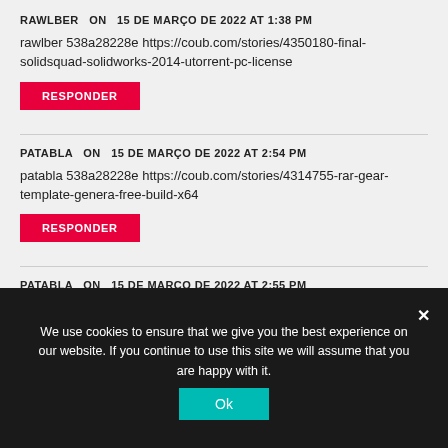RAWLBER   ON   15 DE MARÇO DE 2022 AT 1:38 PM
rawlber 538a28228e https://coub.com/stories/4350180-final-solidsquad-solidworks-2014-utorrent-pc-license
RESPONDER
PATABLA   ON   15 DE MARÇO DE 2022 AT 2:54 PM
patabla 538a28228e https://coub.com/stories/4314755-rar-gear-template-genera-free-build-x64
RESPONDER
PATABLA   ON   15 DE MARÇO DE 2022 AT 2:55 PM
We use cookies to ensure that we give you the best experience on our website. If you continue to use this site we will assume that you are happy with it.
Ok